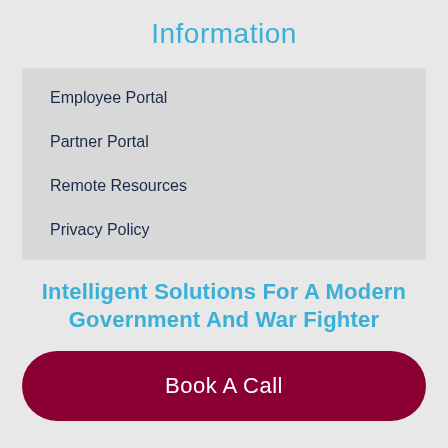Information
Employee Portal
Partner Portal
Remote Resources
Privacy Policy
Intelligent Solutions For A Modern Government And War Fighter
Book A Call